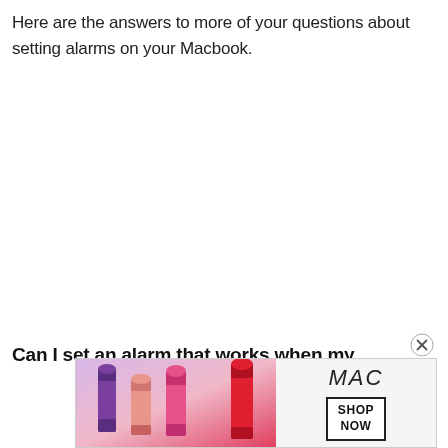Here are the answers to more of your questions about setting alarms on your Macbook.
Can I set an alarm that works when my
[Figure (other): MAC cosmetics advertisement showing lipsticks in purple, pink, and red colors with MAC brand logo and a SHOP NOW button]